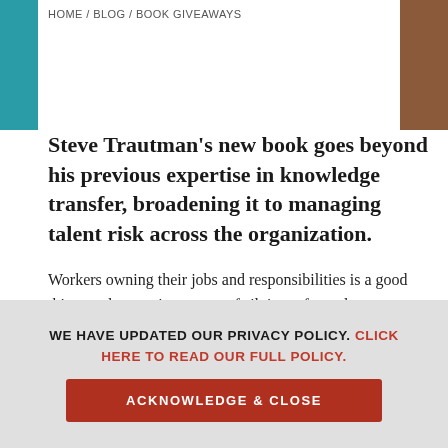HOME / BLOG / BOOK GIVEAWAYS
Steve Trautman's new book goes beyond his previous expertise in knowledge transfer, broadening it to managing talent risk across the organization.
Workers owning their jobs and responsibilities is a good thing, and a certain amount of siloing–of people, processes, and knowledge–is hard to avoid, even beneficial. But there is also risk in having all of your company's processes and knowledge wrapped
WE HAVE UPDATED OUR PRIVACY POLICY. CLICK HERE TO READ OUR FULL POLICY.
ACKNOWLEDGE & CLOSE